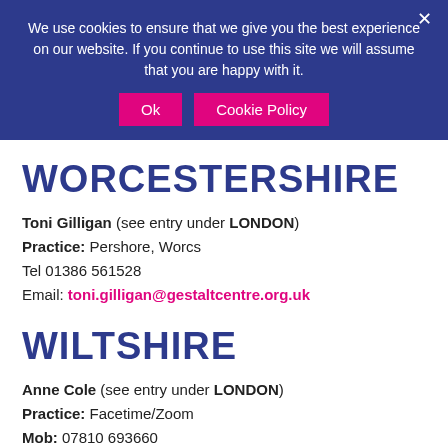We use cookies to ensure that we give you the best experience on our website. If you continue to use this site we will assume that you are happy with it.
Ok | Cookie Policy
WORCESTERSHIRE
Toni Gilligan (see entry under LONDON)
Practice: Pershore, Worcs
Tel 01386 561528
Email: toni.gilligan@gestaltcentre.org.uk
WILTSHIRE
Anne Cole (see entry under LONDON)
Practice: Facetime/Zoom
Mob: 07810693660